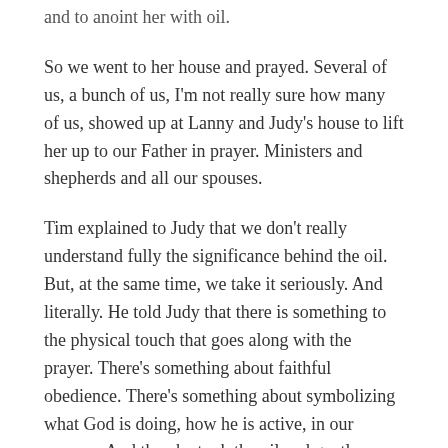and to anoint her with oil.
So we went to her house and prayed. Several of us, a bunch of us, I'm not really sure how many of us, showed up at Lanny and Judy's house to lift her up to our Father in prayer. Ministers and shepherds and all our spouses.
Tim explained to Judy that we don't really understand fully the significance behind the oil. But, at the same time, we take it seriously. And literally. He told Judy that there is something to the physical touch that goes along with the prayer. There's something about faithful obedience. There's something about symbolizing what God is doing, how he is active, in our prayers. And then he took the oil and gently applied a couple of drops to Judy's forehead.
And we prayed.
All of us. On our knees. Hands on Judy and Lanny. Arms